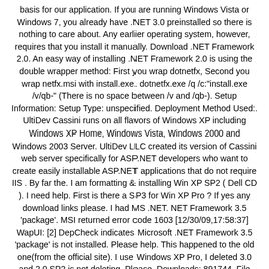basis for our application. If you are running Windows Vista or Windows 7, you already have .NET 3.0 preinstalled so there is nothing to care about. Any earlier operating system, however, requires that you install it manually. Download .NET Framework 2.0. An easy way of installing .NET Framework 2.0 is using the double wrapper method: First you wrap dotnetfx, Second you wrap netfx.msi with install.exe. dotnetfx.exe /q /c:"install.exe /v/qb-" (There is no space between /v and /qb-). Setup Information: Setup Type: unspecified. Deployment Method Used:. UltiDev Cassini runs on all flavors of Windows XP including Windows XP Home, Windows Vista, Windows 2000 and Windows 2003 Server. UltiDev LLC created its version of Cassini web server specifically for ASP.NET developers who want to create easily installable ASP.NET applications that do not require IIS . By far the. I am formatting & installing Win XP SP2 ( Dell CD ). I need help. First is there a SP3 for Win XP Pro ? If yes any download links please. I had MS .NET. NET Framework 3.5 'package'. MSI returned error code 1603 [12/30/09,17:58:37] WapUI: [2] DepCheck indicates Microsoft .NET Framework 3.5 'package' is not installed. Please help. This happened to the old one(from the official site). I use Windows XP Pro, I deleted 3.0 and 2.0 SP2 is not deleting. Please. Downloads: 891744. File size: 23.61MB Requirements: Windows XP / 2003. License: Freeware .NET Framework Version 2.0 SP1 Change Log Microsoft .NET Framework 2.0 Service Pack 1 provides cumulative roll-up updates for customer reported issues found after the release of Microsoft .NET Framework 2.0. In addition. NET Framework 2.0, 3.0, 3.5, and includes cumulative servicing updates to the .NET Framework 2.0 and .NET Framework 3.0 subcomponents. Supported Operating Systems: